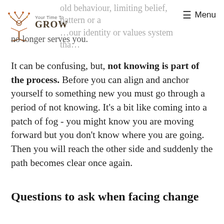old behaviour, limiting belief, pattern or a …our identity or values system tha… no longer serves you.
It can be confusing, but, not knowing is part of the process. Before you can align and anchor yourself to something new you must go through a period of not knowing. It's a bit like coming into a patch of fog - you might know you are moving forward but you don't know where you are going. Then you will reach the other side and suddenly the path becomes clear once again.
Questions to ask when facing change